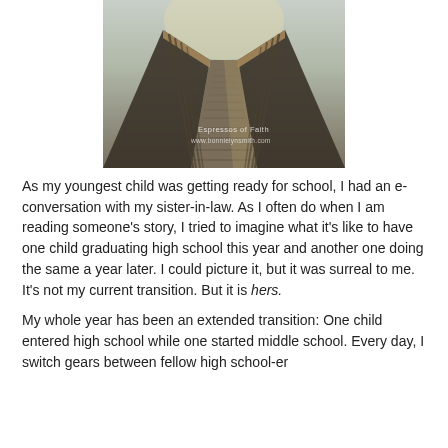[Figure (photo): A wooden boardwalk or bridge perspective photo taken at an angle with morning light, with a watermark reading 'Espressos of Faith / www.bonnielynsmith.com']
As my youngest child was getting ready for school, I had an e-conversation with my sister-in-law. As I often do when I am reading someone's story, I tried to imagine what it's like to have one child graduating high school this year and another one doing the same a year later. I could picture it, but it was surreal to me. It's not my current transition. But it is hers.
My whole year has been an extended transition: One child entered high school while one started middle school. Every day, I switch gears between fellow high school-er